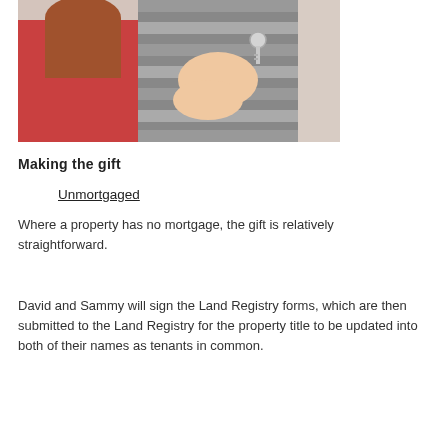[Figure (photo): Two people exchanging house keys — one person in a red top, another in a grey striped top — indoors.]
Making the gift
Unmortgaged
Where a property has no mortgage, the gift is relatively straightforward.
David and Sammy will sign the Land Registry forms, which are then submitted to the Land Registry for the property title to be updated into both of their names as tenants in common.